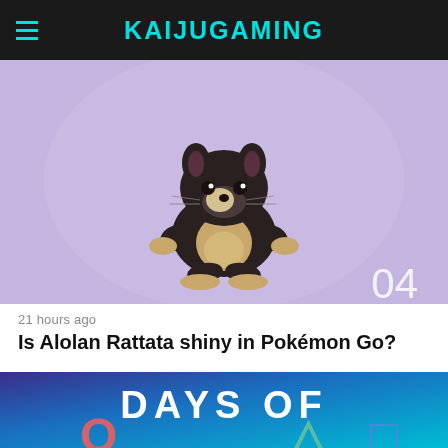KAIJUGAMING
[Figure (screenshot): Alolan Rattata Pokemon character on purple/lavender background with number 04 in lower right corner]
21 hours ago
Is Alolan Rattata shiny in Pokémon Go?
[Figure (screenshot): Days of Play PlayStation promotional banner with colorful gradient blue background showing 'DAYS OF PLAY' text and PlayStation logo symbols]